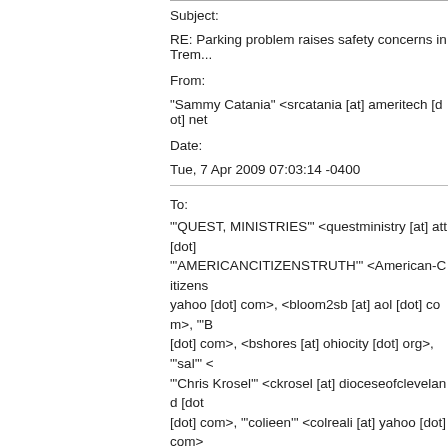Subject:
RE: Parking problem raises safety concerns in Trem...
From:
"Sammy Catania" <srcatania [at] ameritech [dot] net
Date:
Tue, 7 Apr 2009 07:03:14 -0400
To:
"'QUEST, MINISTRIES'" <questministry [at] att [dot] "'AMERICANCITIZENSTRUTH'" <American-Citizens yahoo [dot] com>, <bloom2sb [at] aol [dot] com>, "'B [dot] com>, <bshores [at] ohiocity [dot] org>, "'sal'" < "'Chris Krosel'" <ckrosel [at] dioceseofcleveland [dot [dot] com>, "'colieen'" <colreali [at] yahoo [dot] com> yahoo [dot] com>, "'ELBERT P. CRARY'" <elcrary [a [at] fox8cleveland [dot] com>, "'CARLA FUNK'" <FU [dot] com>, "HENREY'" <HSENYAK [at] aol [dot] co "'Irving Katz'" <ikatz [at] kommgroup [dot] com>, "'m <info [at] coolcleveland [dot] com>, <info [at] kucinic org>, "'TIUU'" <info [at] studio11tremont [dot] com>, tremontwestdevelopment [dot] com>, "'inkvets'" <ink "'jacqueline reasor'" <jacqueline [dot] reasor [at] gm...